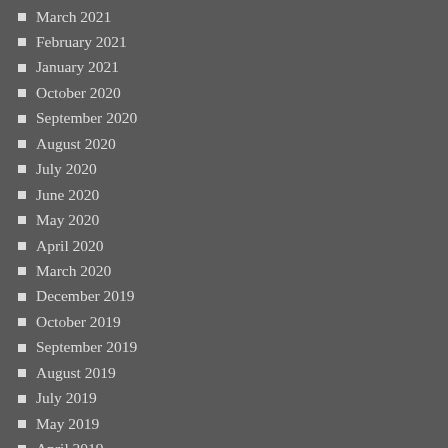March 2021
February 2021
January 2021
October 2020
September 2020
August 2020
July 2020
June 2020
May 2020
April 2020
March 2020
December 2019
October 2019
September 2019
August 2019
July 2019
May 2019
April 2019
March 2019
February 2019
January 2019
December 2018
November 2018
October 2018
August 2018